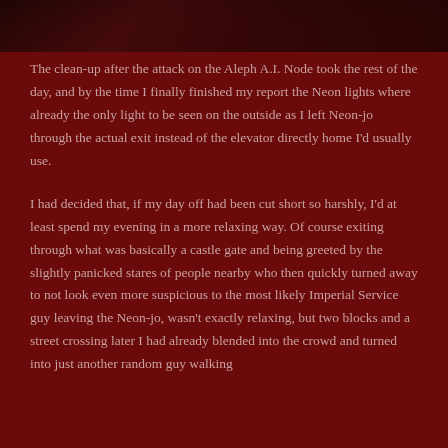[Figure (photo): Dark action scene image showing vehicles or machinery, partially visible at the top of the page with a dark reddish-brown background]
The clean-up after the attack on the Aleph A.I. Node took the rest of the day, and by the time I finally finished my report the Neon lights where already the only light to be seen on the outside as I left Neon-jo through the actual exit instead of the elevator directly home I'd usually use.
I had decided that, if my day off had been cut short so harshly, I'd at least spend my evening in a more relaxing way. Of course exiting through what was basically a castle gate and being greeted by the slightly panicked stares of people nearby who then quickly turned away to not look even more suspicious to the most likely Imperial Service guy leaving the Neon-jo, wasn't exactly relaxing, but two blocks and a street crossing later I had already blended into the crowd and turned into just another random guy walking